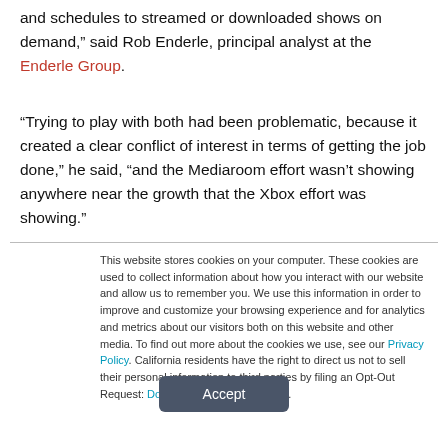and schedules to streamed or downloaded shows on demand," said Rob Enderle, principal analyst at the Enderle Group.
“Trying to play with both had been problematic, because it created a clear conflict of interest in terms of getting the job done,” he said, “and the Mediaroom effort wasn’t showing anywhere near the growth that the Xbox effort was showing.”
This website stores cookies on your computer. These cookies are used to collect information about how you interact with our website and allow us to remember you. We use this information in order to improve and customize your browsing experience and for analytics and metrics about our visitors both on this website and other media. To find out more about the cookies we use, see our Privacy Policy. California residents have the right to direct us not to sell their personal information to third parties by filing an Opt-Out Request: Do Not Sell My Personal Info.